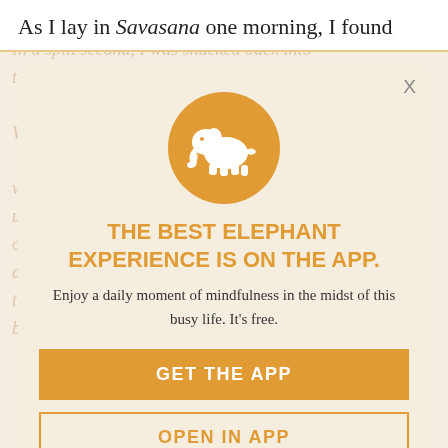As I lay in Savasana one morning, I found
tears streaming down my trembling cheeks. In a split second, I was shucked back into that insecure world I'd escaped. What? I thought I did the work great? would appear in this kind of situation. I'd chosen up and restless in a yoga room. I let my overdrive, but I mobility goals and all the other ruminanted negative thinking I tried so hard to banish, popped right back to the top of my consciousness.
[Figure (logo): Orange circle with white elephant silhouette logo]
THE BEST ELEPHANT EXPERIENCE IS ON THE APP.
Enjoy a daily moment of mindfulness in the midst of this busy life. It's free.
GET THE APP
OPEN IN APP